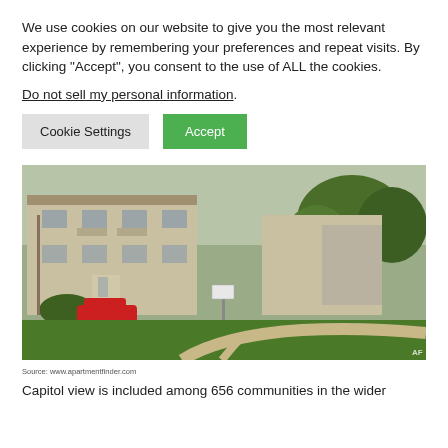We use cookies on our website to give you the most relevant experience by remembering your preferences and repeat visits. By clicking "Accept", you consent to the use of ALL the cookies.
Do not sell my personal information.
[Figure (photo): Exterior photo of a multi-story apartment building complex with brick/cream siding, balconies, green lawn, trees, a red car parked in front, a sign on the grass, and a curved sidewalk. AF watermark in bottom right corner.]
Source: www.apartmentfinder.com
Capitol view is included among 656 communities in the wider